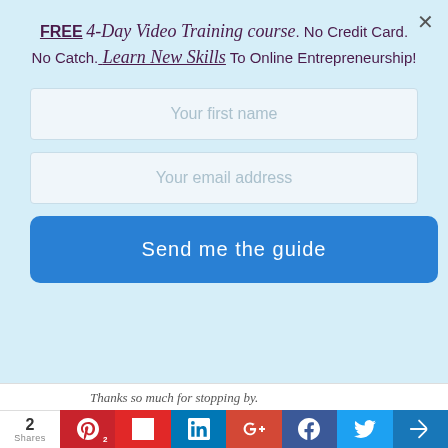FREE 4-Day Video Training course. No Credit Card. No Catch. Learn New Skills To Online Entrepreneurship!
[Figure (screenshot): Email signup form with two input fields (Your first name, Your email address) and a blue 'Send me the guide' button on a light blue background with a close (×) button in top right corner.]
Thanks so much for stopping by.
2 Shares | Social share buttons: Pinterest (2), Flipboard, LinkedIn, Google+, Facebook, Twitter, More